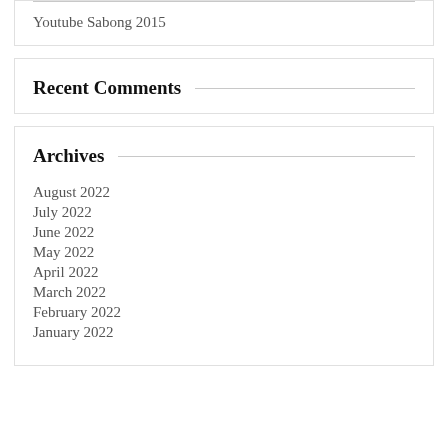Youtube Sabong 2015
Recent Comments
Archives
August 2022
July 2022
June 2022
May 2022
April 2022
March 2022
February 2022
January 2022